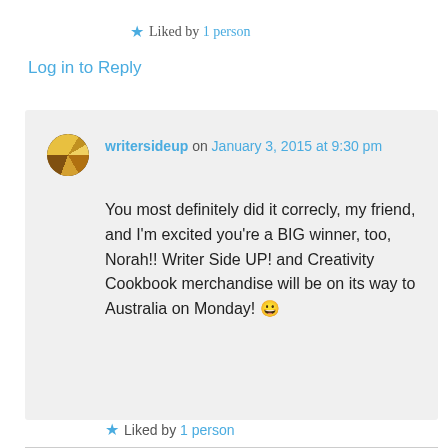★ Liked by 1 person
Log in to Reply
writersideup on January 3, 2015 at 9:30 pm
You most definitely did it correcly, my friend, and I'm excited you're a BIG winner, too, Norah!! Writer Side UP! and Creativity Cookbook merchandise will be on its way to Australia on Monday! 😀
★ Liked by 1 person
Log in to Reply